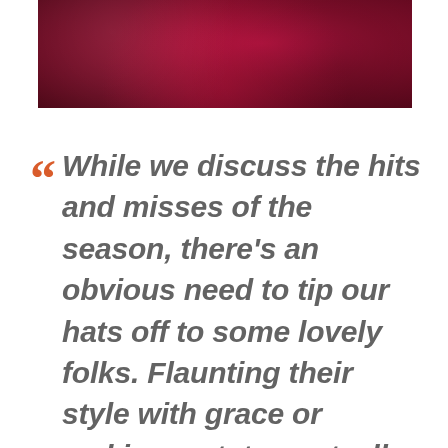[Figure (photo): Red/crimson textured fabric or surface, dark and moody, cropped at top of page]
“While we discuss the hits and misses of the season, there’s an obvious need to tip our hats off to some lovely folks. Flaunting their style with grace or making a statement, all listings are empty without these special